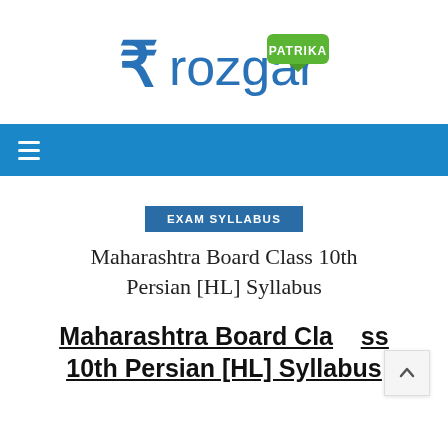[Figure (logo): Rozgar Patrika logo — rupee symbol followed by 'rozgar' in blue and a green 'PATRIKA' badge]
≡
EXAM SYLLABUS
Maharashtra Board Class 10th Persian [HL] Syllabus
Maharashtra Board Class 10th Persian [HL] Syllabus